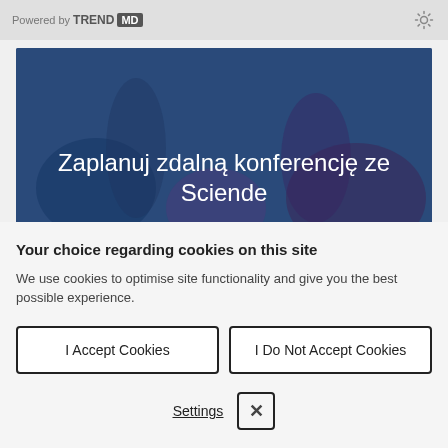Powered by TREND MD
[Figure (photo): Dark blue background with hands/fingers visible, conference-related image with Polish text overlay: 'Zaplanuj zdalna konferencję ze Sciende']
Your choice regarding cookies on this site
We use cookies to optimise site functionality and give you the best possible experience.
I Accept Cookies
I Do Not Accept Cookies
Settings